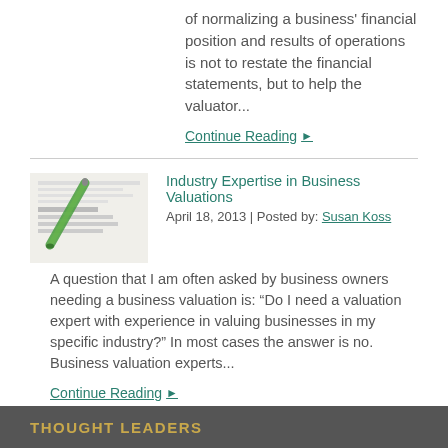of normalizing a business' financial position and results of operations is not to restate the financial statements, but to help the valuator...
Continue Reading ▶
[Figure (photo): Thumbnail image of a business valuation document/book with a green marker pen on top]
Industry Expertise in Business Valuations
April 18, 2013  | Posted by: Susan Koss
A question that I am often asked by business owners needing a business valuation is: “Do I need a valuation expert with experience in valuing businesses in my specific industry?” In most cases the answer is no. Business valuation experts...
Continue Reading ▶
THOUGHT LEADERS